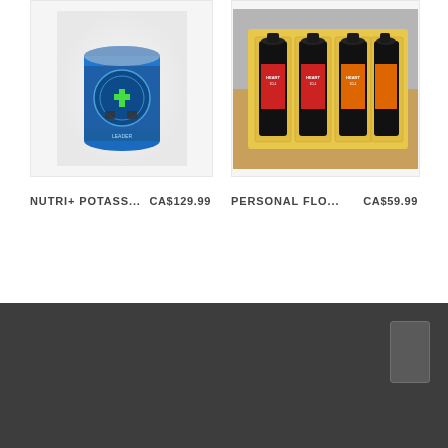[Figure (photo): Product image of NUTRI+ POTASS... supplement container with blue label]
NUTRI+ POTASS...   CA$129.99
[Figure (photo): Product image of PERSONAL FLO... bottles in a yellow box gift set]
PERSONAL FLO...   CA$59.99